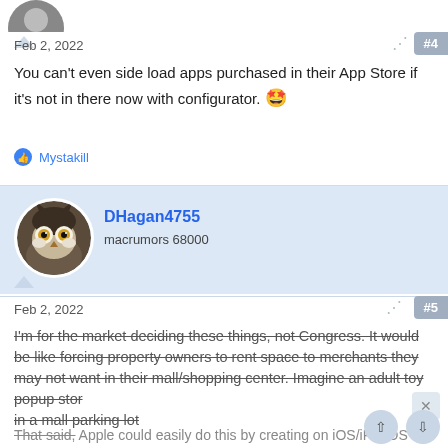[Figure (photo): Partial avatar image at top of page, circular crop]
Feb 2, 2022
#4
You can't even side load apps purchased in their App Store if it's not in there now with configurator. 🤩
Mystakill
[Figure (photo): Owl avatar for DHagan4755, circular profile photo]
DHagan4755
macrumors 68000
Feb 2, 2022
#5
I'm for the market deciding these things, not Congress. It would be like forcing property owners to rent space to merchants they may not want in their mall/shopping center. Imagine an adult toy popup stor in a mall parking lot
That said, Apple could easily do this by creating on iOS/iPadOS this